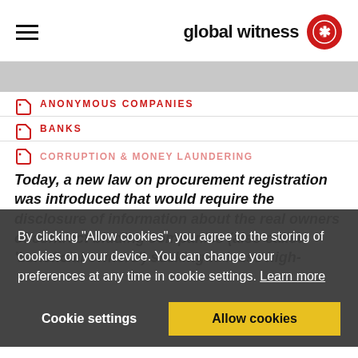global witness
ANONYMOUS COMPANIES
BANKS
CORRUPTION & MONEY LAUNDERING
Today, a new law on procurement registration was introduced that would require the disclosure of information about the real owners of contract bidding companies (also called 'beneficial owners') seeking to lease high-
By clicking "Allow cookies", you agree to the storing of cookies on your device. You can change your preferences at any time in cookie settings. Learn more
Cookie settings
Allow cookies